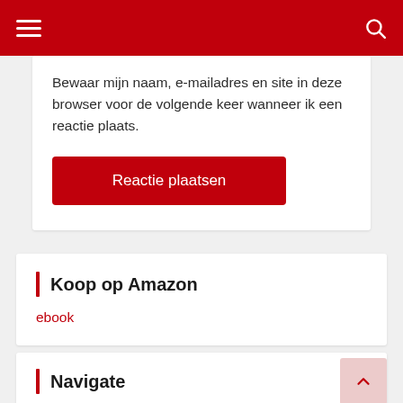Navigation bar with hamburger menu and search icon
Bewaar mijn naam, e-mailadres en site in deze browser voor de volgende keer wanneer ik een reactie plaats.
Reactie plaatsen
Koop op Amazon
ebook
Navigate
Home
Topverhalen